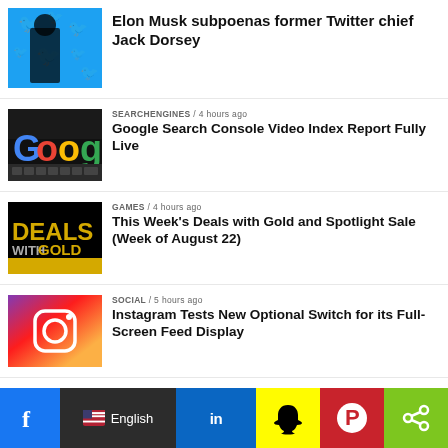[Figure (photo): Elon Musk silhouette in front of Twitter bird logos background]
Elon Musk subpoenas former Twitter chief Jack Dorsey
[Figure (photo): Google logo on a laptop keyboard]
SEARCHENGINES / 4 hours ago
Google Search Console Video Index Report Fully Live
[Figure (photo): Deals with Gold gaming promotion banner]
GAMES / 4 hours ago
This Week's Deals with Gold and Spotlight Sale (Week of August 22)
[Figure (photo): Instagram logo on gradient purple/pink/yellow background]
SOCIAL / 5 hours ago
Instagram Tests New Optional Switch for its Full-Screen Feed Display
[Figure (photo): Search Engine related article thumbnail with person]
SEO / 6 hours ago
Modern PPC Opportunities & Challenges